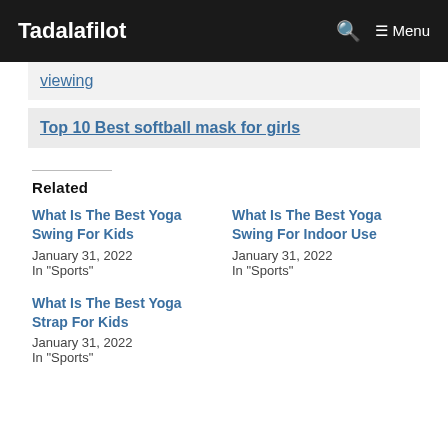Tadalafilot  Menu
viewing
Top 10 Best softball mask for girls
Related
What Is The Best Yoga Swing For Kids
January 31, 2022
In "Sports"
What Is The Best Yoga Swing For Indoor Use
January 31, 2022
In "Sports"
What Is The Best Yoga Strap For Kids
January 31, 2022
In "Sports"